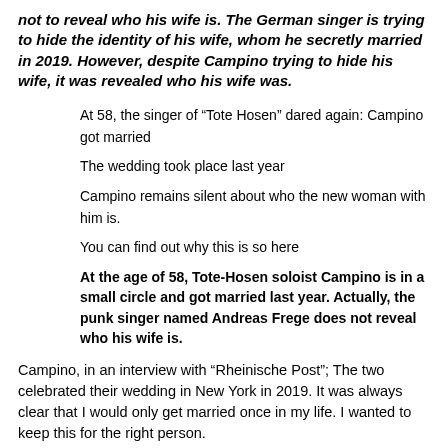not to reveal who his wife is. The German singer is trying to hide the identity of his wife, whom he secretly married in 2019. However, despite Campino trying to hide his wife, it was revealed who his wife was.
At 58, the singer of “Tote Hosen” dared again: Campino got married
The wedding took place last year
Campino remains silent about who the new woman with him is.
You can find out why this is so here
At the age of 58, Tote-Hosen soloist Campino is in a small circle and got married last year. Actually, the punk singer named Andreas Frege does not reveal who his wife is.
Campino, in an interview with “Rheinische Post”; The two celebrated their wedding in New York in 2019. It was always clear that I would only get married once in my life. I wanted to keep this for the right person.